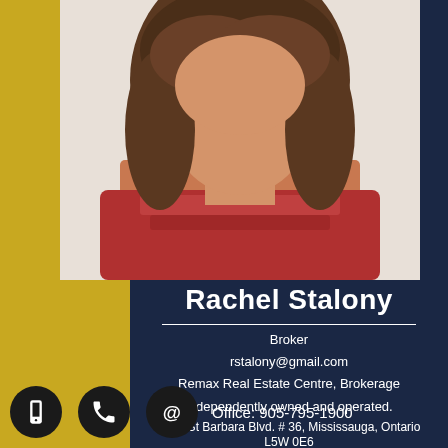[Figure (photo): Headshot photo of Rachel Stalony, a woman with brown hair wearing a red sleeveless top]
Rachel Stalony
Broker
rstalony@gmail.com
Remax Real Estate Centre, Brokerage
Independently owned and operated.
7070 St Barbara Blvd. # 36, Mississauga, Ontario L5W 0E6
Office: 905-795-1900